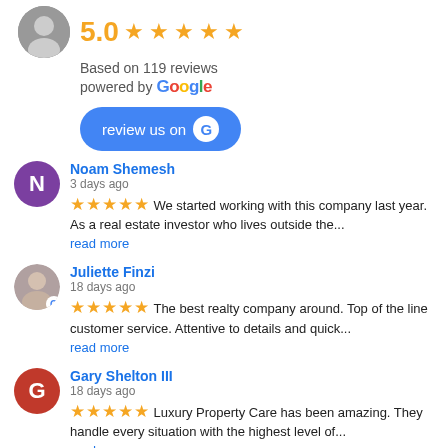5.0 ★★★★★
Based on 119 reviews
powered by Google
review us on Google
Noam Shemesh
3 days ago
★★★★★ We started working with this company last year. As a real estate investor who lives outside the...
read more
Juliette Finzi
18 days ago
★★★★★ The best realty company around. Top of the line customer service. Attentive to details and quick...
read more
Gary Shelton III
18 days ago
★★★★★ Luxury Property Care has been amazing. They handle every situation with the highest level of... read more